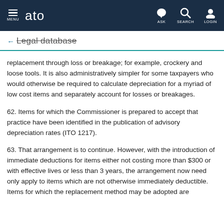MENU | ato | ASK | SEARCH | LOGIN
← Legal database
replacement through loss or breakage; for example, crockery and loose tools. It is also administratively simpler for some taxpayers who would otherwise be required to calculate depreciation for a myriad of low cost items and separately account for losses or breakages.
62. Items for which the Commissioner is prepared to accept that practice have been identified in the publication of advisory depreciation rates (ITO 1217).
63. That arrangement is to continue. However, with the introduction of immediate deductions for items either not costing more than $300 or with effective lives or less than 3 years, the arrangement now need only apply to items which are not otherwise immediately deductible. Items for which the replacement method may be adopted are